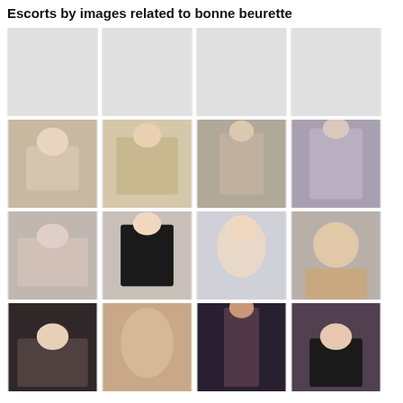Escorts by images related to bonne beurette
[Figure (photo): Placeholder/blank light gray image]
[Figure (photo): Placeholder/blank light gray image]
[Figure (photo): Placeholder/blank light gray image]
[Figure (photo): Placeholder/blank light gray image]
[Figure (photo): Woman in white crop top and underwear]
[Figure (photo): Woman in colorful bikini]
[Figure (photo): Woman posing sideways]
[Figure (photo): Woman in sparkly outfit]
[Figure (photo): Woman on couch]
[Figure (photo): Blonde woman in black dress]
[Figure (photo): Woman selfie close-up]
[Figure (photo): Woman with red hair in bra]
[Figure (photo): Asian woman at restaurant]
[Figure (photo): Close-up body photo]
[Figure (photo): Woman in lingerie full body]
[Figure (photo): Woman in black bikini]